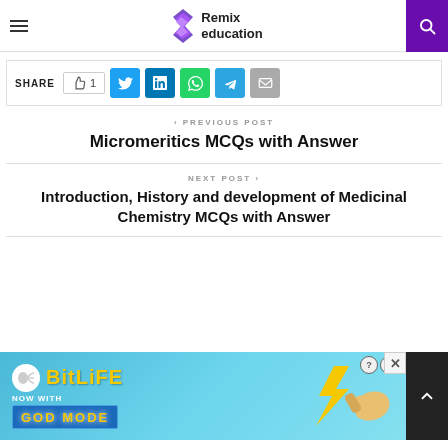Remix education
SHARE 👍 1 [Twitter] [LinkedIn] [WhatsApp] [Telegram] [Email]
< PREVIOUS POST
Micromeritics MCQs with Answer
NEXT POST >
Introduction, History and development of Medicinal Chemistry MCQs with Answer
[Figure (screenshot): BitLife advertisement banner - NOW WITH GOD MODE]